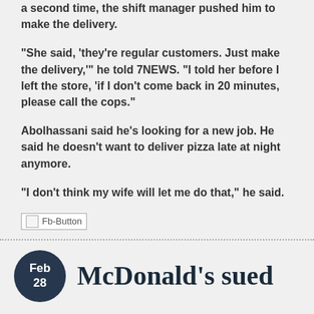a second time, the shift manager pushed him to make the delivery.
“She said, ‘they’re regular customers. Just make the delivery,’” he told 7NEWS. “I told her before I left the store, ‘if I don’t come back in 20 minutes, please call the cops.”
Abolhassani said he’s looking for a new job. He said he doesn’t want to deliver pizza late at night anymore.
“I don’t think my wife will let me do that,” he said.
[Figure (other): Fb-Button social sharing button placeholder image]
McDonald’s sued
Feb 28